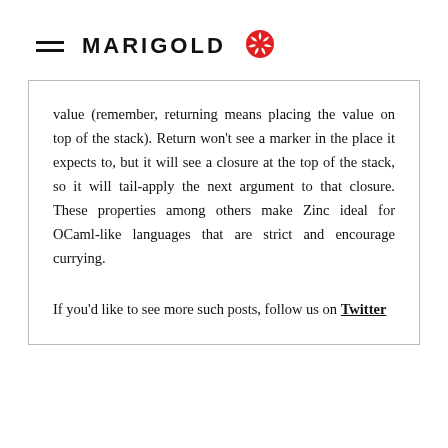MARIGOLD
value (remember, returning means placing the value on top of the stack). Return won't see a marker in the place it expects to, but it will see a closure at the top of the stack, so it will tail-apply the next argument to that closure. These properties among others make Zinc ideal for OCaml-like languages that are strict and encourage currying.
If you'd like to see more such posts, follow us on Twitter